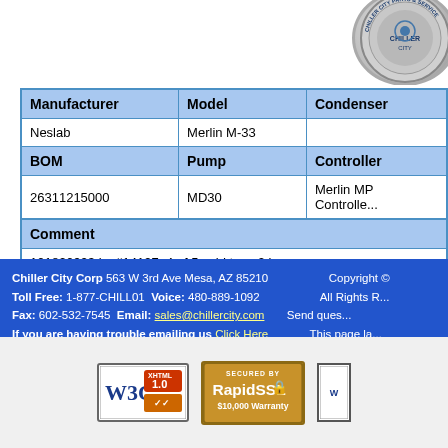[Figure (logo): Chiller City Corp circular logo/seal, grey and blue]
| Manufacturer | Model | Condenser | BOM | Pump | Controller |
| --- | --- | --- | --- | --- | --- |
| Neslab | Merlin M-33 |  |
| 26311215000 | MD30 | Merlin MP Controller |
Go Back to Inventory Search
Chiller City Corp 563 W 3rd Ave Mesa, AZ 85210 | Toll Free: 1-877-CHILL01 Voice: 480-889-1092 | Fax: 602-532-7545 Email: sales@chillercity.com | If you are having trouble emailing us Click Here | Copyright © All Rights Reserved. Send questions. This page la...